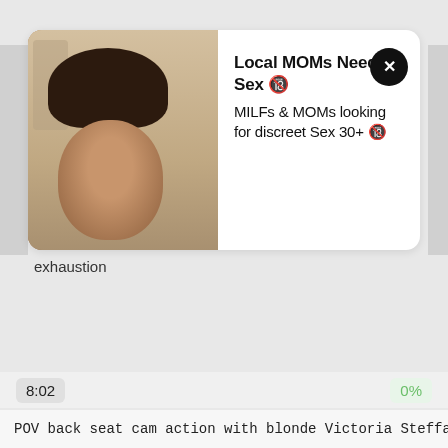[Figure (photo): Ad card with photo of a woman with dark curly hair, close-up portrait, with a mirror reflection in the background showing a figure]
Local MOMs Need Sex 🔞 MILFs & MOMs looking for discreet Sex 30+ 🔞
exhaustion
8:02
0%
POV back seat cam action with blonde Victoria Steffanie who craves